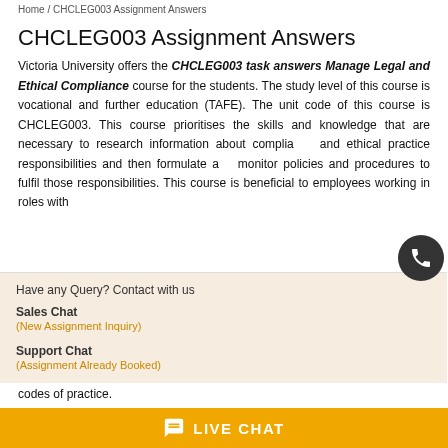Home / CHCLEG003 Assignment Answers
CHCLEG003 Assignment Answers
Victoria University offers the CHCLEG003 task answers Manage Legal and Ethical Compliance course for the students. The study level of this course is vocational and further education (TAFE). The unit code of this course is CHCLEG003. This course prioritises the skills and knowledge that are necessary to research information about compliance and ethical practice responsibilities and then formulate and monitor policies and procedures to fulfil those responsibilities. This course is beneficial to employees working in roles with
Have any Query? Contact with us
Sales Chat
(New Assignment Inquiry)
Support Chat
(Assignment Already Booked)
codes of practice.
LIVE CHAT